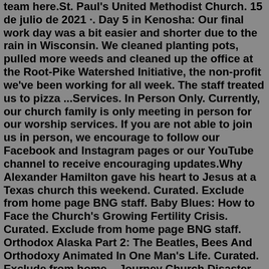team here.St. Paul's United Methodist Church. 15 de julio de 2021 ·. Day 5 in Kenosha: Our final work day was a bit easier and shorter due to the rain in Wisconsin. We cleaned planting pots, pulled more weeds and cleaned up the office at the Root-Pike Watershed Initiative, the non-profit we've been working for all week. The staff treated us to pizza ...Services. In Person Only. Currently, our church family is only meeting in person for our worship services. If you are not able to join us in person, we encourage to follow our Facebook and Instagram pages or our YouTube channel to receive encouraging updates.Why Alexander Hamilton gave his heart to Jesus at a Texas church this weekend. Curated. Exclude from home page BNG staff. Baby Blues: How to Face the Church's Growing Fertility Crisis. Curated. Exclude from home page BNG staff. Orthodox Alaska Part 2: The Beatles, Bees And Orthodoxy Animated In One Man's Life. Curated. Exclude from home ...Journey Church Disaster Response Team The JRNY Disaster Response Team